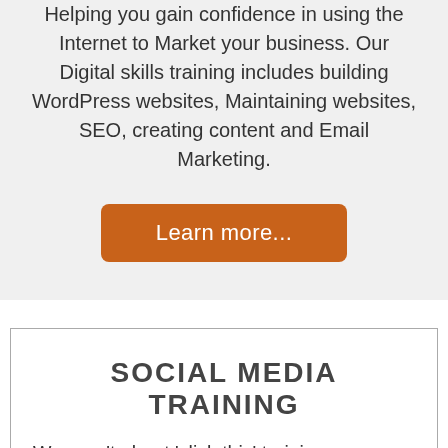Helping you gain confidence in using the Internet to Market your business. Our Digital skills training includes building WordPress websites, Maintaining websites, SEO, creating content and Email Marketing.
[Figure (other): Orange rounded button with white text reading 'Learn more...']
SOCIAL MEDIA TRAINING
We aren't about 'click this' training, you can learn that for free. We teach you an approach to Social Media Marketing that you can apply quickly and easily to your